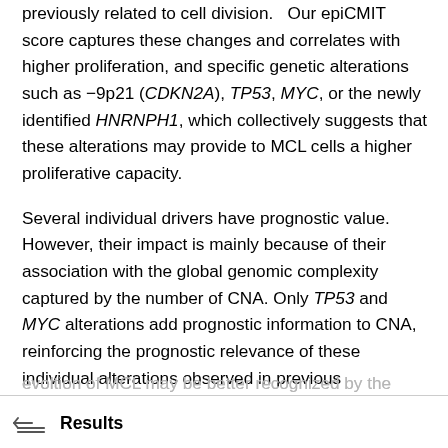previously related to cell division. Our epiCMIT score captures these changes and correlates with higher proliferation, and specific genetic alterations such as −9p21 (CDKN2A), TP53, MYC, or the newly identified HNRNPH1, which collectively suggests that these alterations may provide to MCL cells a higher proliferative capacity.
Several individual drivers have prognostic value. However, their impact is mainly because of their association with the global genomic complexity captured by the number of CNA. Only TP53 and MYC alterations add prognostic information to CNA, reinforcing the prognostic relevance of these individual alterations observed in previous studies. [17,63-66] Interestingly, the epiCMIT score also has independent prognostic value, indicating that the complex
evolution of MCL may be better recognized by the integration of genomic and epigenomic parameters.
Results